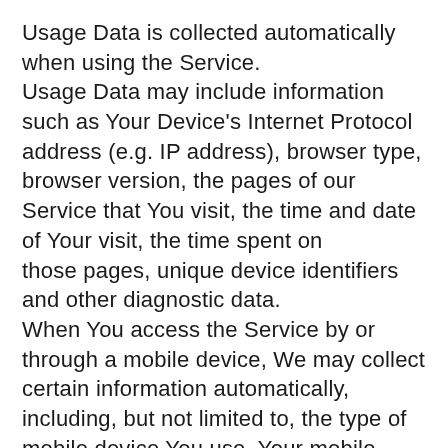Usage Data is collected automatically when using the Service. Usage Data may include information such as Your Device's Internet Protocol address (e.g. IP address), browser type, browser version, the pages of our Service that You visit, the time and date of Your visit, the time spent on those pages, unique device identifiers and other diagnostic data. When You access the Service by or through a mobile device, We may collect certain information automatically, including, but not limited to, the type of mobile device You use, Your mobile device unique